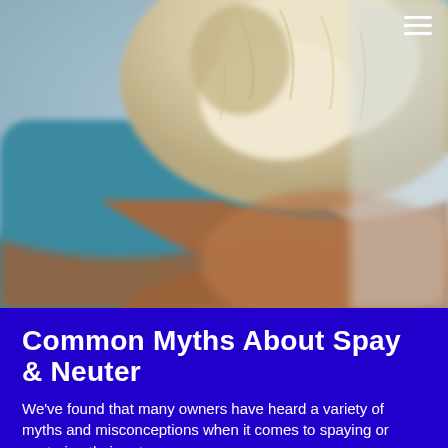[Figure (photo): Close-up photo of a fluffy light-colored dog (Shih Tzu type) being held by a person wearing teal/blue clothing, against a blurred background.]
Common Myths About Spay & Neuter
We've found that many owners have heard a variety of myths and misconceptions when it comes to spaying or neutering their pet.